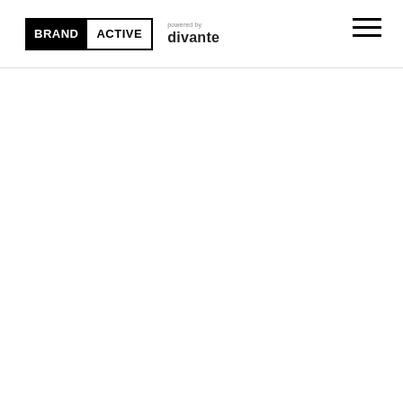BRAND ACTIVE powered by divante
[Figure (logo): BrandActive logo with black box containing 'BRAND' in white and 'ACTIVE' in black outlined box, alongside 'powered by divante' text and hamburger menu icon]